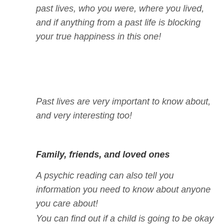past lives, who you were, where you lived, and if anything from a past life is blocking your true happiness in this one!
Past lives are very important to know about, and very interesting too!
Family, friends, and loved ones
A psychic reading can also tell you information you need to know about anyone you care about!
You can find out if a child is going to be okay